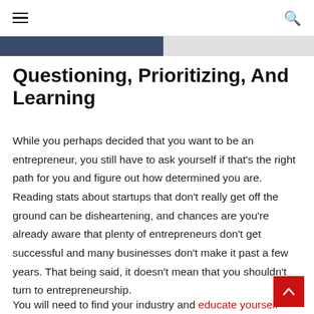≡  [hamburger menu]  [search icon]
[Figure (photo): Partial image strip at top of article, dark blue and grey tones]
Questioning, Prioritizing, And Learning
While you perhaps decided that you want to be an entrepreneur, you still have to ask yourself if that's the right path for you and figure out how determined you are. Reading stats about startups that don't really get off the ground can be disheartening, and chances are you're already aware that plenty of entrepreneurs don't get successful and many businesses don't make it past a few years. That being said, it doesn't mean that you shouldn't turn to entrepreneurship.
You will need to find your industry and educate yourself.